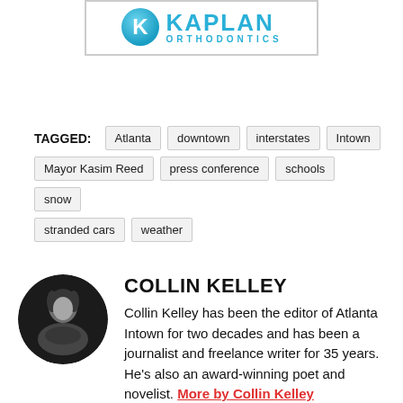[Figure (logo): Kaplan Orthodontics logo with blue K circle and KAPLAN ORTHODONTICS text in blue]
TAGGED: Atlanta  downtown  interstates  Intown  Mayor Kasim Reed  press conference  schools  snow  stranded cars  weather
[Figure (photo): Black and white circular headshot photo of Collin Kelley]
COLLIN KELLEY
Collin Kelley has been the editor of Atlanta Intown for two decades and has been a journalist and freelance writer for 35 years. He's also an award-winning poet and novelist. More by Collin Kelley